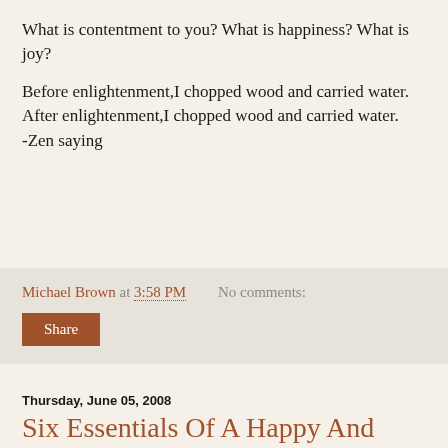What is contentment to you? What is happiness? What is joy?
Before enlightenment,I chopped wood and carried water. After enlightenment,I chopped wood and carried water.
-Zen saying
Michael Brown at 3:58 PM   No comments:
Share
Thursday, June 05, 2008
Six Essentials Of A Happy And Balanced Life
Why are some people happy and others not? First of all, it is a choice. Some people choose to be happy despite what goes on around them and to them. Others think they can't be happy until everything is perfect in their lives. Many more always see the glass as half empty instead of half full. It's all a matter of choice and perspective. I do think it helps to have a balanced life. Here are the